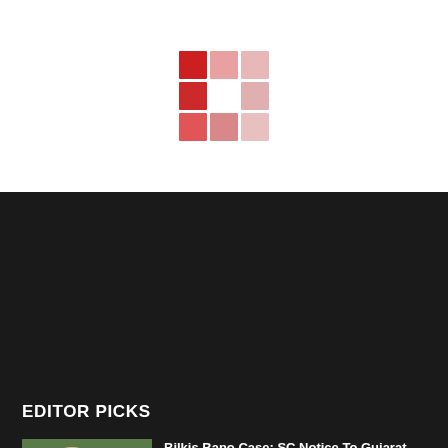[Figure (logo): News website logo made of red and pink grid squares]
EDITOR PICKS
[Figure (photo): Photo showing Supreme Court building and woman's face]
Bilkis Bano Case: SC Notice To Gujarat Govt On Plea Against Remission Of 11 Convicts
August 25, 2022
[Figure (photo): Photo showing Toronto CN Tower skyline at sunset]
Canada: Indian Students Face Visa Delays, Govt Intervenes
August 25, 2022